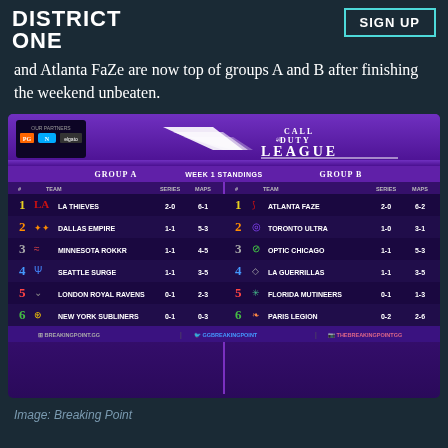DISTRICT ONE | SIGN UP
and Atlanta FaZe are now top of groups A and B after finishing the weekend unbeaten.
[Figure (table-as-image): Call of Duty League Week 1 Standings infographic showing Group A and Group B. Group A: 1. LA Thieves 2-0 6-1, 2. Dallas Empire 1-1 5-3, 3. Minnesota ROKKR 1-1 4-5, 4. Seattle Surge 1-1 3-5, 5. London Royal Ravens 0-1 2-3, 6. New York Subliners 0-1 0-3. Group B: 1. Atlanta FaZe 2-0 6-2, 2. Toronto Ultra 1-0 3-1, 3. Optic Chicago 1-1 5-3, 4. LA Guerrillas 1-1 3-5, 5. Florida Mutineers 0-1 1-3, 6. Paris Legion 0-2 2-6.]
Image: Breaking Point